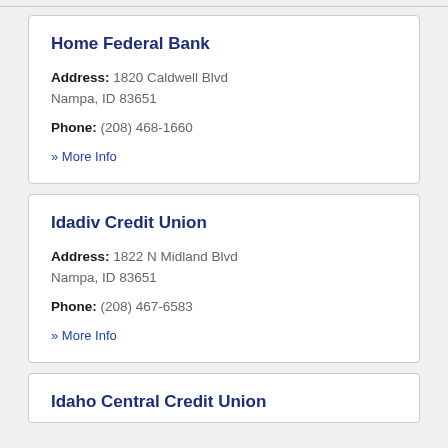Home Federal Bank
Address: 1820 Caldwell Blvd
Nampa, ID 83651
Phone: (208) 468-1660
» More Info
Idadiv Credit Union
Address: 1822 N Midland Blvd
Nampa, ID 83651
Phone: (208) 467-6583
» More Info
Idaho Central Credit Union